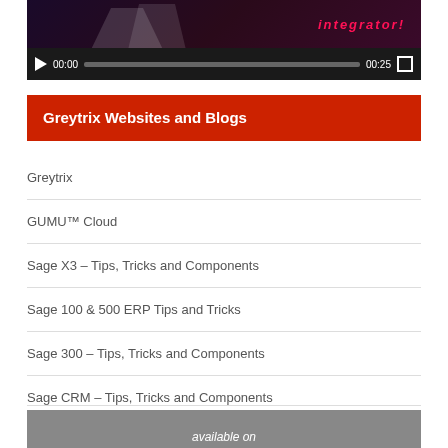[Figure (screenshot): Video player showing a dark scene with 'integrator!' text in pink, controls showing 00:00 time and 00:25 duration]
Greytrix Websites and Blogs
Greytrix
GUMU™ Cloud
Sage X3 – Tips, Tricks and Components
Sage 100 & 500 ERP Tips and Tricks
Sage 300 – Tips, Tricks and Components
Sage CRM – Tips, Tricks and Components
Salesforce.com Tips and Tricks by Greytrix
[Figure (screenshot): Bottom gray bar with 'available on' text]